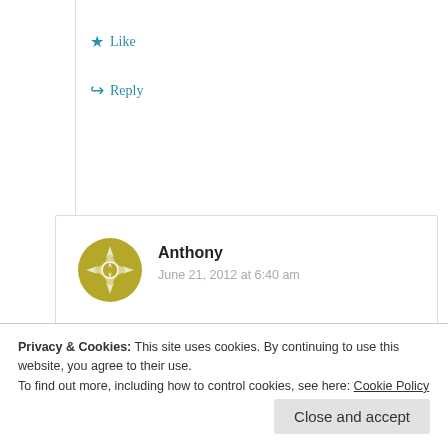Like
Reply
Anthony
June 21, 2012 at 6:40 am
I have a severe migrane right now nd every other day i need excedrin its the only thing that stops it
Like
Privacy & Cookies: This site uses cookies. By continuing to use this website, you agree to their use.
To find out more, including how to control cookies, see here: Cookie Policy
Close and accept